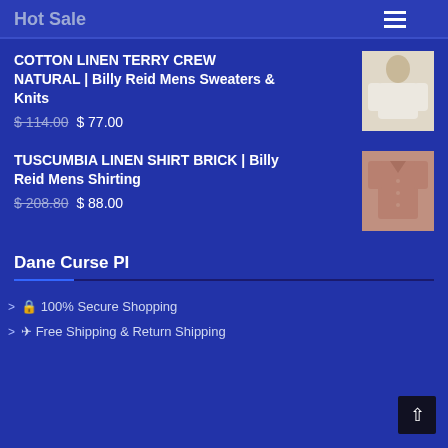Hot Sale
COTTON LINEN TERRY CREW NATURAL | Billy Reid Mens Sweaters & Knits
$114.00 $77.00
[Figure (photo): Model wearing a cream/natural cotton linen terry crew sweater]
TUSCUMBIA LINEN SHIRT BRICK | Billy Reid Mens Shirting
$208.80 $88.00
[Figure (photo): Brick-colored linen shirt laid flat or on mannequin]
Dane Curse PI
🔒 100% Secure Shopping
✈ Free Shipping & Return Shipping